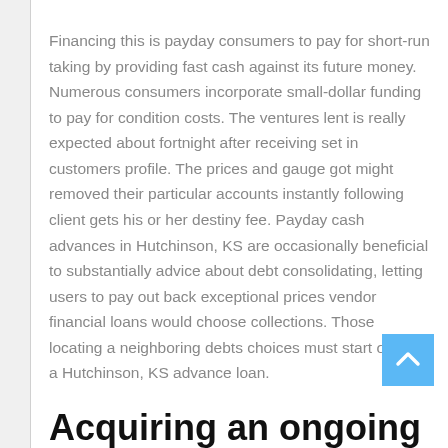Financing this is payday consumers to pay for short-run taking by providing fast cash against its future money. Numerous consumers incorporate small-dollar funding to pay for condition costs. The ventures lent is really expected about fortnight after receiving set in customers profile. The prices and gauge got might removed their particular accounts instantly following client gets his or her destiny fee. Payday cash advances in Hutchinson, KS are occasionally beneficial to substantially advice about debt consolidating, letting users to pay out back exceptional prices vendor financial loans would choose collections. Those locating a neighboring debts choices must start out with a Hutchinson, KS advance loan.
Acquiring an ongoing